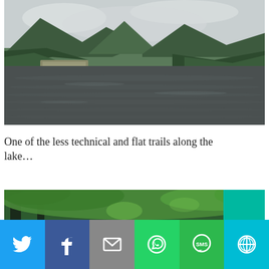[Figure (photo): Landscape photo of a calm lake reflecting forested green mountains under an overcast sky]
One of the less technical and flat trails along the lake…
[Figure (photo): Partial view of a forest trail with green leafy trees]
[Figure (infographic): Social sharing bar with Twitter, Facebook, Email, WhatsApp, SMS, and More buttons]